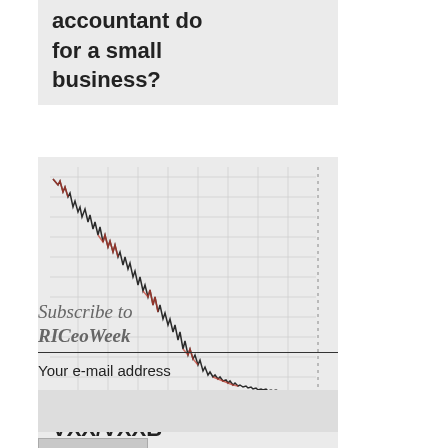accountant do for a small business?
[Figure (continuous-plot): A continuous line chart showing the declining price trend of VXX/VXXB over time, with a sharp downward slope. The chart has a grid background with dotted right-side axis markings. The line is mostly dark with red highlights showing volatility.]
VXX/VXXB Trading Strategy
Subscribe to RICeoWeek
Your e-mail address